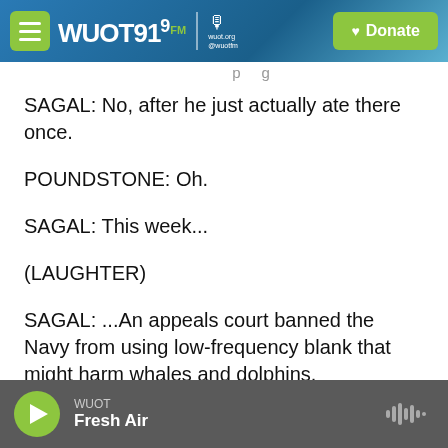[Figure (screenshot): WUOT 91.9 FM radio station header bar with hamburger menu button, logo, microphone icon, and green Donate button on blue gradient background]
SAGAL: No, after he just actually ate there once.
POUNDSTONE: Oh.
SAGAL: This week...
(LAUGHTER)
SAGAL: ...An appeals court banned the Navy from using low-frequency blank that might harm whales and dolphins.
POUNDSTONE: What is that called? Radar.
[Figure (screenshot): Audio player footer bar with green play button, WUOT station label, Fresh Air show name, and waveform icon on gray background]